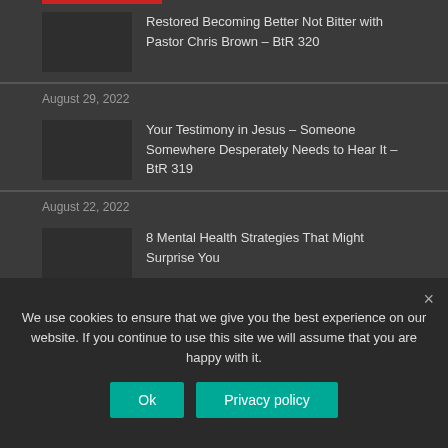Restored Becoming Better Not Bitter with Pastor Chris Brown – BtR 320
August 29, 2022
Your Testimony in Jesus – Someone Somewhere Desperately Needs to Hear It – BtR 319
August 22, 2022
8 Mental Health Strategies That Might Surprise You
August 18, 2022
We use cookies to ensure that we give you the best experience on our website. If you continue to use this site we will assume that you are happy with it.